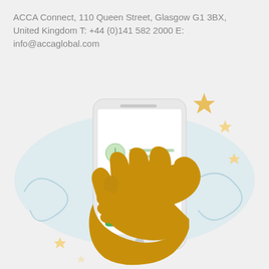ACCA Connect, 110 Queen Street, Glasgow G1 3BX, United Kingdom T: +44 (0)141 582 2000 E: info@accaglobal.com
[Figure (illustration): Illustration of a hand holding a smartphone displaying a messaging or notification app interface with a clock icon, text lines, an arrow icon, and a green button with an arrow. Decorative sparkle/diamond shapes in yellow and light blue swirl elements surround the phone.]